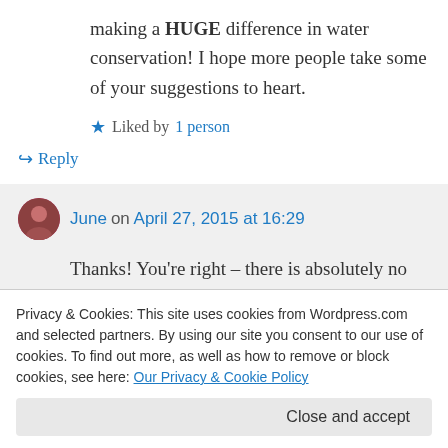making a HUGE difference in water conservation! I hope more people take some of your suggestions to heart.
★ Liked by 1 person
↳ Reply
June on April 27, 2015 at 16:29
Thanks! You're right – there is absolutely no down side to turning off the tap while
↳ Reply
Privacy & Cookies: This site uses cookies from Wordpress.com and selected partners. By using our site you consent to our use of cookies. To find out more, as well as how to remove or block cookies, see here: Our Privacy & Cookie Policy
Close and accept